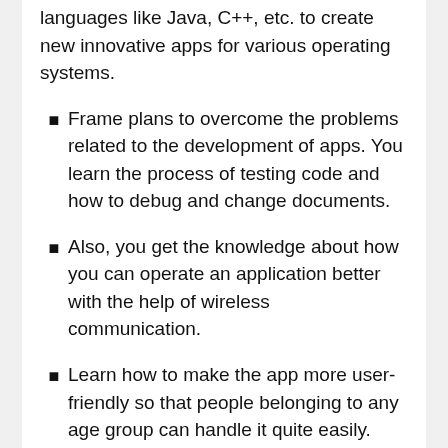languages like Java, C++, etc. to create new innovative apps for various operating systems.
Frame plans to overcome the problems related to the development of apps. You learn the process of testing code and how to debug and change documents.
Also, you get the knowledge about how you can operate an application better with the help of wireless communication.
Learn how to make the app more user-friendly so that people belonging to any age group can handle it quite easily.
Able to compare your developed app